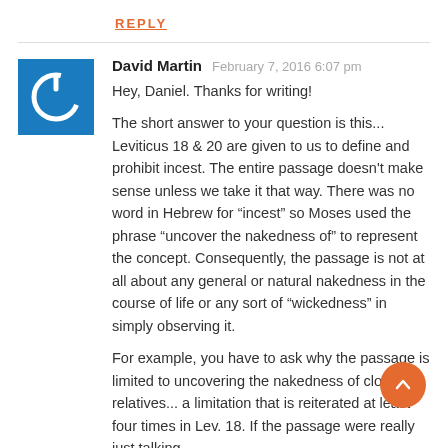REPLY
[Figure (illustration): Blue square avatar with white power button icon]
David Martin   February 7, 2016 6:07 pm
Hey, Daniel. Thanks for writing!

The short answer to your question is this... Leviticus 18 & 20 are given to us to define and prohibit incest. The entire passage doesn't make sense unless we take it that way. There was no word in Hebrew for “incest” so Moses used the phrase “uncover the nakedness of” to represent the concept. Consequently, the passage is not at all about any general or natural nakedness in the course of life or any sort of “wickedness” in simply observing it.

For example, you have to ask why the passage is limited to uncovering the nakedness of close relatives... a limitation that is reiterated at least four times in Lev. 18. If the passage were really just talking